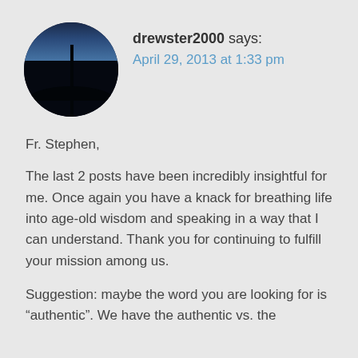[Figure (photo): Circular avatar image showing a dark silhouette of a post/pole against a twilight sky with blue gradient, with dark ground in the foreground.]
drewster2000 says:
April 29, 2013 at 1:33 pm
Fr. Stephen,
The last 2 posts have been incredibly insightful for me. Once again you have a knack for breathing life into age-old wisdom and speaking in a way that I can understand. Thank you for continuing to fulfill your mission among us.
Suggestion: maybe the word you are looking for is “authentic”. We have the authentic vs. the